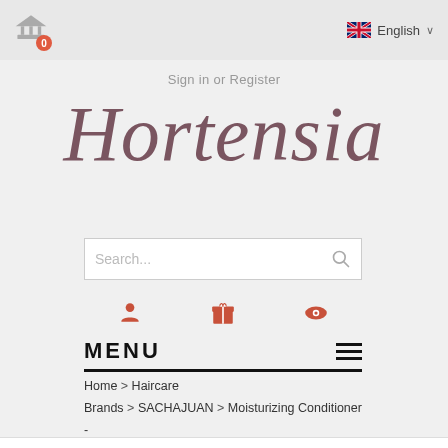Cart icon with badge 0, English language selector
Sign in or Register
Hortensia
[Figure (other): Search bar with placeholder text 'Search...' and search icon]
[Figure (other): Three icons row: user/account icon, gift/promotions icon, eye/wishlist icon in coral/red color]
MENU
Home > Haircare Brands > SACHAJUAN > Moisturizing Conditioner - SACHAJUAN